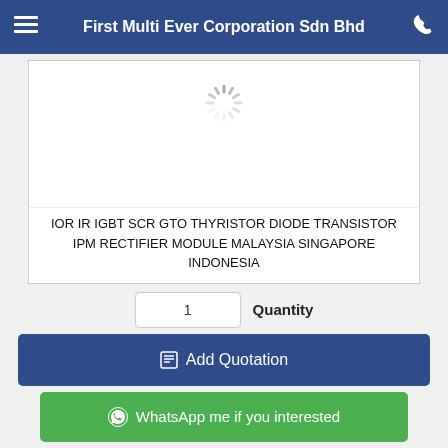First Multi Ever Corporation Sdn Bhd
[Figure (screenshot): Loading spinner icon in the upper product image area]
IOR IR IGBT SCR GTO THYRISTOR DIODE TRANSISTOR IPM RECTIFIER MODULE MALAYSIA SINGAPORE INDONESIA
1  Quantity
Add Quotation
WhatsApp me if you interested
onics Accessories